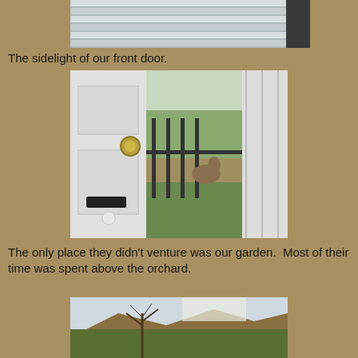[Figure (photo): Top portion of a photo showing window blinds or shutters in white/gray tones]
The sidelight of our front door.
[Figure (photo): Photo of a white front door sidelight window showing an outdoor garden area with an animal visible through the glass, iron railing bars visible]
The only place they didn't venture was our garden.  Most of their time was spent above the orchard.
[Figure (photo): Photo of an outdoor orchard area with bare trees and mountains/hills in the background under a bright sky]